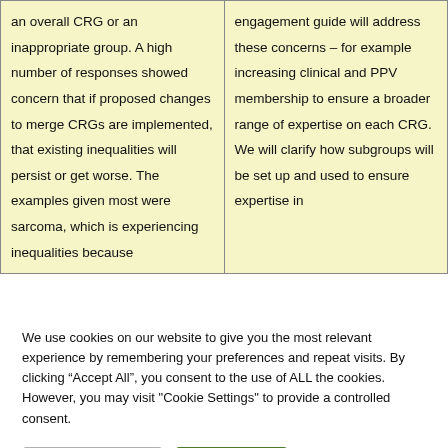| an overall CRG or an inappropriate group. A high number of responses showed concern that if proposed changes to merge CRGs are implemented, that existing inequalities will persist or get worse. The examples given most were sarcoma, which is experiencing inequalities because | engagement guide will address these concerns – for example increasing clinical and PPV membership to ensure a broader range of expertise on each CRG. We will clarify how subgroups will be set up and used to ensure expertise in |
We use cookies on our website to give you the most relevant experience by remembering your preferences and repeat visits. By clicking “Accept All”, you consent to the use of ALL the cookies. However, you may visit "Cookie Settings" to provide a controlled consent.